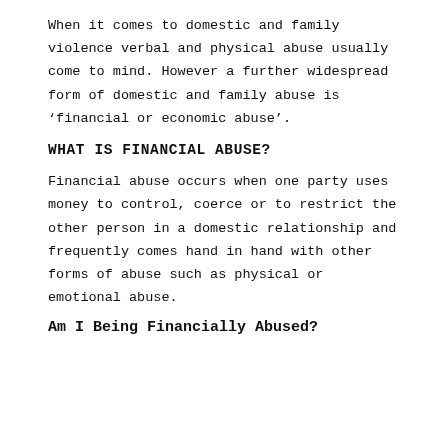When it comes to domestic and family violence verbal and physical abuse usually come to mind. However a further widespread form of domestic and family abuse is 'financial or economic abuse'.
WHAT IS FINANCIAL ABUSE?
Financial abuse occurs when one party uses money to control, coerce or to restrict the other person in a domestic relationship and frequently comes hand in hand with other forms of abuse such as physical or emotional abuse.
Am I Being Financially Abused?